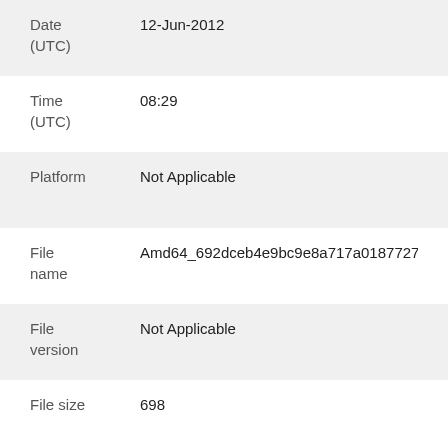| Field | Value |
| --- | --- |
| Date (UTC) | 12-Jun-2012 |
| Time (UTC) | 08:29 |
| Platform | Not Applicable |
| File name | Amd64_692dceb4e9bc9e8a717a01877274e2ad_31bf3 |
| File version | Not Applicable |
| File size | 698 |
| Date | 12-Jun-2012 |